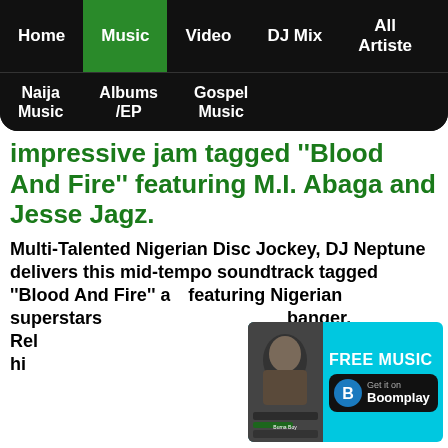Home | Music | Video | DJ Mix | All Artiste | Naija Music | Albums /EP | Gospel Music
impressive jam tagged ''Blood And Fire'' featuring M.I. Abaga and Jesse Jagz.
Multi-Talented Nigerian Disc Jockey, DJ Neptune delivers this mid-tempo soundtrack tagged ''Blood And Fire'' a... featuring Nigerian superstars ... banger. Rel... potential hi...
[Figure (screenshot): Boomplay FREE MUSIC advertisement banner with a music app screenshot thumbnail on the left and 'Get it on Boomplay' button on the right.]